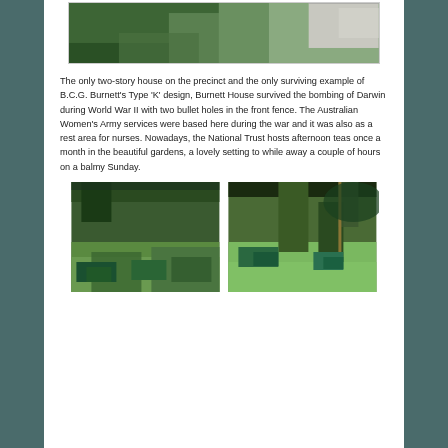[Figure (photo): Top portion of a photo showing green trees and foliage with a building structure visible on the right side]
The only two-story house on the precinct and the only surviving example of B.C.G. Burnett's Type 'K' design, Burnett House survived the bombing of Darwin during World War II with two bullet holes in the front fence. The Australian Women's Army services were based here during the war and it was also as a rest area for nurses. Nowadays, the National Trust hosts afternoon teas once a month in the beautiful gardens, a lovely setting to while away a couple of hours on a balmy Sunday.
[Figure (photo): Left photo showing garden setting with teal/blue outdoor tables and chairs under shade umbrellas with lush greenery]
[Figure (photo): Right photo showing garden setting with green umbrella, teal outdoor furniture on grass with trees]